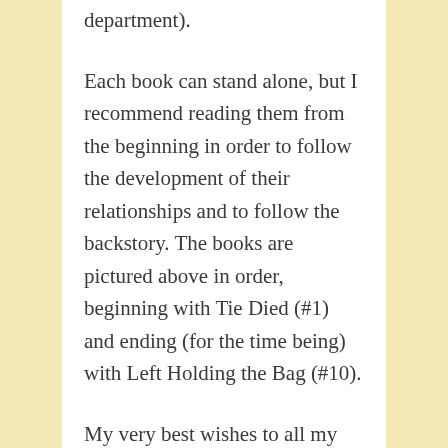department).
Each book can stand alone, but I recommend reading them from the beginning in order to follow the development of their relationships and to follow the backstory. The books are pictured above in order, beginning with Tie Died (#1) and ending (for the time being) with Left Holding the Bag (#10).
My very best wishes to all my readers and the followers of my blog. Again, welcome to the new folks and a very